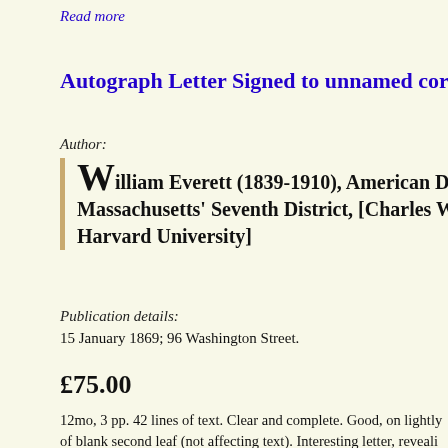Read more
Autograph Letter Signed to unnamed corres…
Author:
William Everett (1839-1910), American De… Massachusetts' Seventh District, [Charles W… Harvard University]
Publication details:
15 January 1869; 96 Washington Street.
£75.00
12mo, 3 pp. 42 lines of text. Clear and complete. Good, on lightly of blank second leaf (not affecting text). Interesting letter, reveali within nineteenth-century Harvard. The 'Lectureship' having been special request that in some way the Undergraduates may have ar regard as vital'. Reports the view of 'Mr. Eliot' on the idea that Ev Harva…